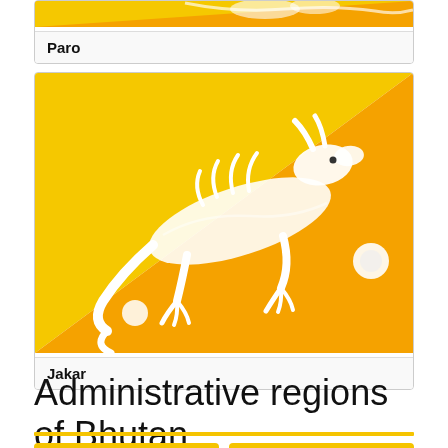[Figure (illustration): Bhutan flag image (partial, top of card) showing yellow and orange diagonal with white dragon, for Paro entry]
Paro
[Figure (illustration): Bhutan flag image showing yellow upper-left and orange lower-right diagonal with large white dragon in center, for Jakar entry]
Jakar
Administrative regions of Bhutan
Bumthang Dzongkhag
Chhukha Dzongkhag